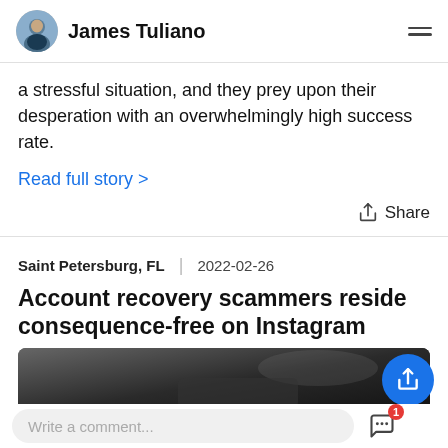James Tuliano
a stressful situation, and they prey upon their desperation with an overwhelmingly high success rate.
Read full story >
Share
Saint Petersburg, FL  |  2022-02-26
Account recovery scammers reside consequence-free on Instagram
[Figure (photo): Dark image of a smartphone, partially visible at bottom of article card]
Write a comment...